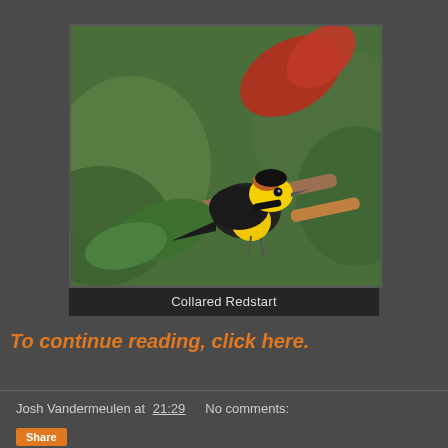[Figure (photo): A Collared Redstart bird perched on a branch. The bird has a bright yellow body and face, black collar and wings, and a rusty-orange crown. It is perched on a thin branch with green and red leaves visible in the blurred background.]
Collared Redstart
To continue reading, click here.
Josh Vandermeulen at 21:29    No comments: